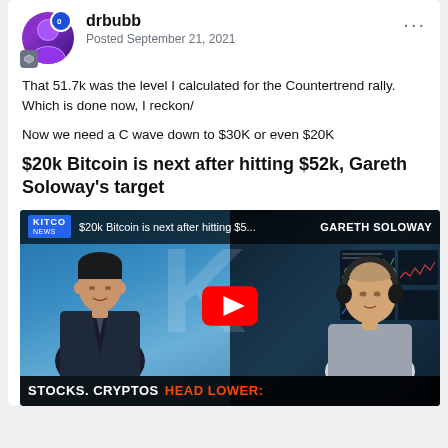drbubb | Posted September 21, 2021
That 51.7k was the level I calculated for the Countertrend rally. Which is done now, I reckon/
Now we need a C wave down to $30K or even $20K
$20k Bitcoin is next after hitting $52k, Gareth Soloway's target
[Figure (screenshot): YouTube video thumbnail from Kitco News: '$20k Bitcoin is next after hitting $5...' featuring interviewer on left with blue background and Gareth Soloway on right with trading screens. Bottom bar reads 'STOCKS. CRYPTOS HEAD LOWER:'. YouTube play button overlay in center.]